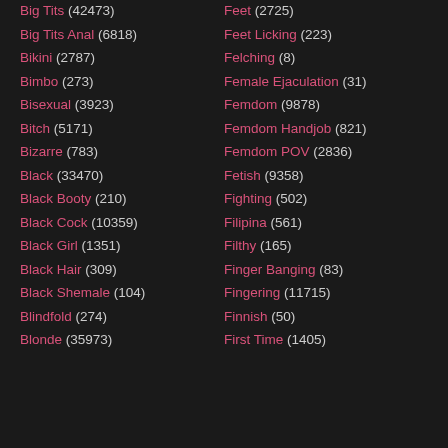Big Tits (42473)
Big Tits Anal (6818)
Bikini (2787)
Bimbo (273)
Bisexual (3923)
Bitch (5171)
Bizarre (783)
Black (33470)
Black Booty (210)
Black Cock (10359)
Black Girl (1351)
Black Hair (309)
Black Shemale (104)
Blindfold (274)
Blonde (35973)
Feet (2725)
Feet Licking (223)
Felching (8)
Female Ejaculation (31)
Femdom (9878)
Femdom Handjob (821)
Femdom POV (2836)
Fetish (9358)
Fighting (502)
Filipina (561)
Filthy (165)
Finger Banging (83)
Fingering (11715)
Finnish (50)
First Time (1405)